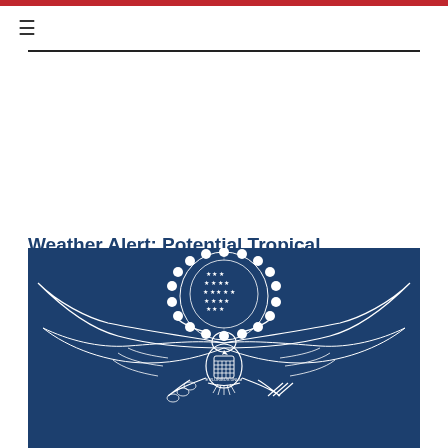Weather Alert: Potential Tropical Depression – Aruba, Bonaire, and Curacao
[Figure (logo): US Embassy seal / Great Seal of the United States on a dark navy blue background. White outline drawing of the eagle with shield, olive branch and arrows, with stars and E PLURIBUS UNUM banner above.]